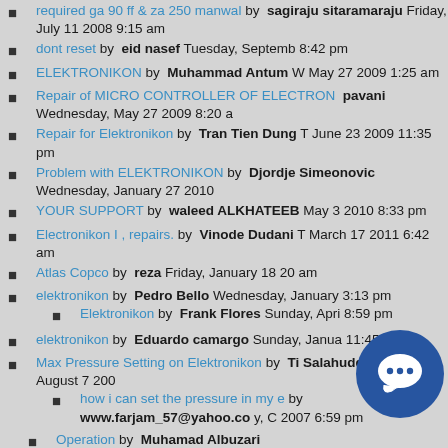required ga 90 ff & za 250 manwal by sagiraju sitaramaraju Friday, July 11 2008 9:15 am
dont reset by eid nasef Tuesday, September 8:42 pm
ELEKTRONIKON by Muhammad Antum W May 27 2009 1:25 am
Repair of MICRO CONTROLLER OF ELECTRON pavani Wednesday, May 27 2009 8:20 a
Repair for Elektronikon by Tran Tien Dung T June 23 2009 11:35 pm
Problem with ELEKTRONIKON by Djordje Simeonovic Wednesday, January 27 2010
YOUR SUPPORT by waleed ALKHATEEB May 3 2010 8:33 pm
Electronikon I , repairs. by Vinode Dudani T March 17 2011 6:42 am
Atlas Copco by reza Friday, January 18 20 am
elektronikon by Pedro Bello Wednesday, January 3:13 pm
Elektronikon by Frank Flores Sunday, April 8:59 pm
elektronikon by Eduardo camargo Sunday, January 11:45 am
Max Pressure Setting on Elektronikon by Ti Salahuddin Tuesday, August 7 2007
how i can set the pressure in my e by www.farjam_57@yahoo.co y, October 2007 6:59 pm
Operation by Muhamad Albuzari